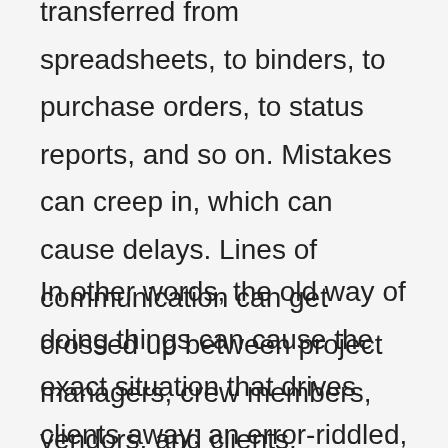transferred from spreadsheets, to binders, to purchase orders, to status reports, and so on. Mistakes can creep in, which can cause delays. Lines of communication can get crossed up between project managers, crew members, vendors, and clients.
In other words, the old way of doing things can cause the exact situation that drives clients away: an error-riddled, behind-schedule, over-budget,